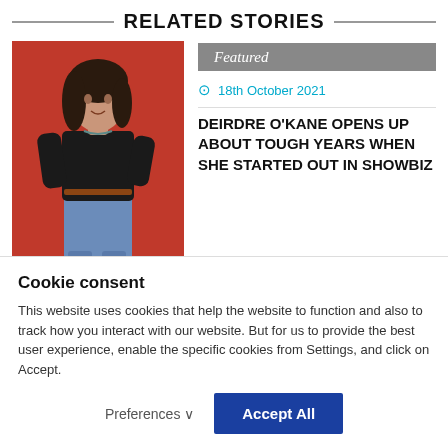RELATED STORIES
[Figure (photo): Woman with dark hair in black shirt and jeans posing against a red background]
Featured
18th October 2021
DEIRDRE O'KANE OPENS UP ABOUT TOUGH YEARS WHEN SHE STARTED OUT IN SHOWBIZ
Cookie consent
This website uses cookies that help the website to function and also to track how you interact with our website. But for us to provide the best user experience, enable the specific cookies from Settings, and click on Accept.
Preferences ∨
Accept All